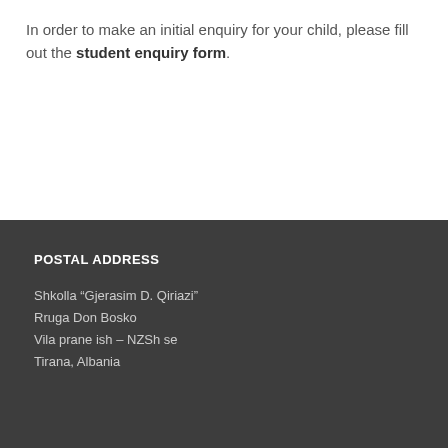In order to make an initial enquiry for your child, please fill out the student enquiry form.
POSTAL ADDRESS
Shkolla “Gjerasim D. Qiriazi”
Rruga Don Bosko
Vila prane ish – NZSh se
Tirana, Albania